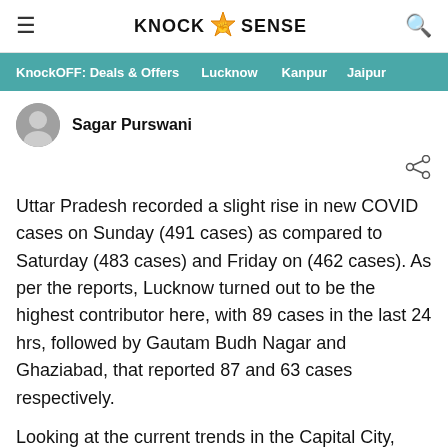KnockSense
KnockOFF: Deals & Offers | Lucknow | Kanpur | Jaipur
Sagar Purswani
Uttar Pradesh recorded a slight rise in new COVID cases on Sunday (491 cases) as compared to Saturday (483 cases) and Friday on (462 cases). As per the reports, Lucknow turned out to be the highest contributor here, with 89 cases in the last 24 hrs, followed by Gautam Budh Nagar and Ghaziabad, that reported 87 and 63 cases respectively.
Looking at the current trends in the Capital City,